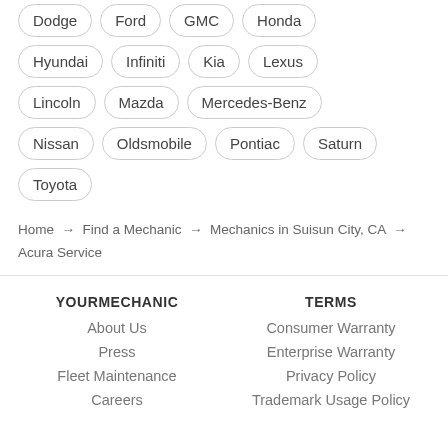Dodge | Ford | GMC | Honda
Hyundai | Infiniti | Kia | Lexus
Lincoln | Mazda | Mercedes-Benz
Nissan | Oldsmobile | Pontiac | Saturn
Toyota
Home → Find a Mechanic → Mechanics in Suisun City, CA → Acura Service
YOURMECHANIC | About Us | Press | Fleet Maintenance | Careers
TERMS | Consumer Warranty | Enterprise Warranty | Privacy Policy | Trademark Usage Policy